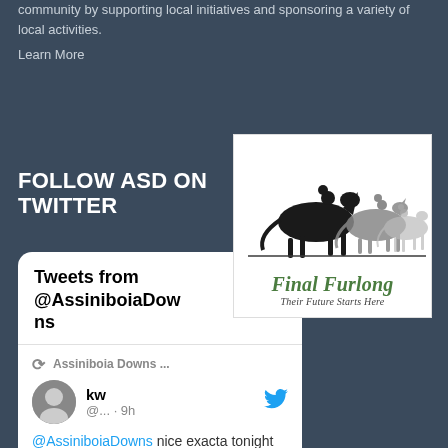community by supporting local initiatives and sponsoring a variety of local activities.
Learn More
FOLLOW ASD ON TWITTER
[Figure (screenshot): Twitter widget showing tweets from @AssiniboiaDowns. Includes a retweet by Assiniboia Downs, then a tweet by user 'kw' (@... · 9h) reading: @AssiniboiaDowns nice exacta tonight in the 6th always exciting races]
[Figure (logo): Final Furlong logo with three horse silhouettes (black, grey, light grey) jumping/racing, text 'Final Furlong' in green italic serif font, subtitle 'Their Future Starts Here']